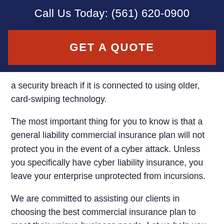Call Us Today: (561) 620-0900
[Figure (other): Red call-to-action button reading GET A QUOTE]
a security breach if it is connected to using older, card-swiping technology.
The most important thing for you to know is that a general liability commercial insurance plan will not protect you in the event of a cyber attack. Unless you specifically have cyber liability insurance, you leave your enterprise unprotected from incursions.
We are committed to assisting our clients in choosing the best commercial insurance plan to meet their unique business needs. Let us help you assess your